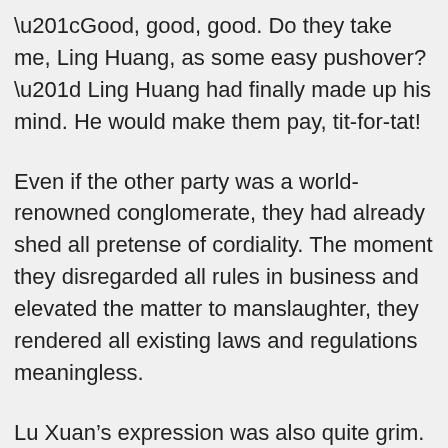“Good, good, good. Do they take me, Ling Huang, as some easy pushover?” Ling Huang had finally made up his mind. He would make them pay, tit-for-tat!
Even if the other party was a world-renowned conglomerate, they had already shed all pretense of cordiality. The moment they disregarded all rules in business and elevated the matter to manslaughter, they rendered all existing laws and regulations meaningless.
Lu Xuan’s expression was also quite grim. That was because their opponent seemed much decisive than he assumed; although not much time had passed